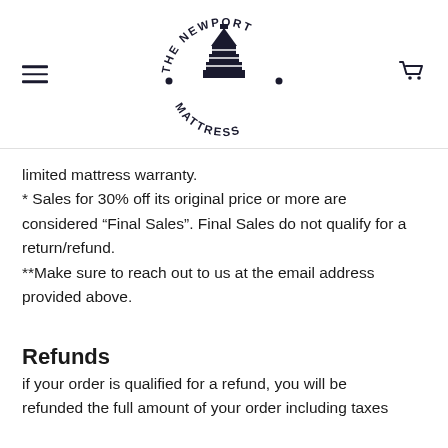[Figure (logo): The Newport Mattress circular logo with lighthouse/pyramid icon]
limited mattress warranty.
* Sales for 30% off its original price or more are considered “Final Sales”. Final Sales do not qualify for a return/refund.
**Make sure to reach out to us at the email address provided above.
Refunds
if your order is qualified for a refund, you will be refunded the full amount of your order including taxes